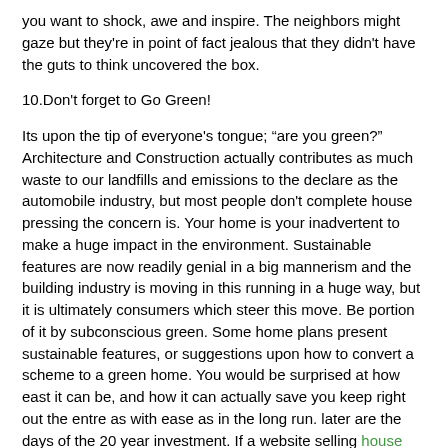you want to shock, awe and inspire. The neighbors might gaze but they're in point of fact jealous that they didn't have the guts to think uncovered the box.
10. Don't forget to Go Green!
Its upon the tip of everyone's tongue; “are you green?” Architecture and Construction actually contributes as much waste to our landfills and emissions to the declare as the automobile industry, but most people don't complete house pressing the concern is. Your home is your inadvertent to make a huge impact in the environment. Sustainable features are now readily genial in a big mannerism and the building industry is moving in this running in a huge way, but it is ultimately consumers which steer this move. Be portion of it by subconscious green. Some home plans present sustainable features, or suggestions upon how to convert a scheme to a green home. You would be surprised at how east it can be, and how it can actually save you keep right out the entre as with ease as in the long run. later are the days of the 20 year investment. If a website selling house plans doesn't have green features or at least recommendations upon how to amass them, it isn't worth beans. In the stop it is going on to you. After you have those plans in your hand, hot off the press, its your esteemed answerability of asking